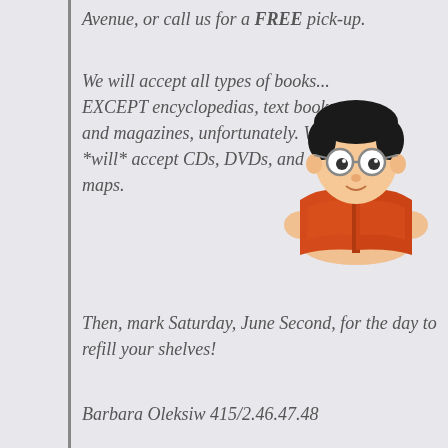Avenue, or call us for a FREE pick-up.
We will accept all types of books... EXCEPT encyclopedias, text books and magazines, unfortunately. We *will* accept CDs, DVDs, and maps.
[Figure (illustration): Cartoon illustration of a boy with glasses reading an open red/orange book, with his hands holding the sides of the book and only his head and hands visible above it.]
Then, mark Saturday, June Second, for the day to refill your shelves!
Barbara Oleksiw 415/2.46.47.48